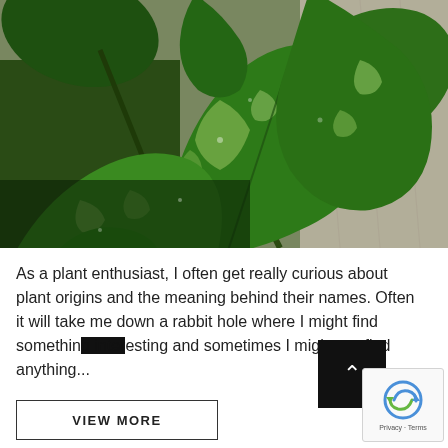[Figure (photo): Close-up photograph of green and white variegated pothos/devil's ivy leaves against a light wooden background]
As a plant enthusiast, I often get really curious about plant origins and the meaning behind their names. Often it will take me down a rabbit hole where I might find something interesting and sometimes I might not find anything...
VIEW MORE